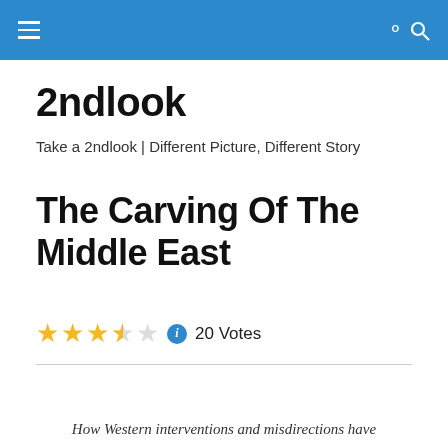2ndlook [hamburger menu icon] [search icon]
2ndlook
Take a 2ndlook | Different Picture, Different Story
The Carving Of The Middle East
3.5 stars, info icon, 20 Votes
How Western interventions and misdirections have